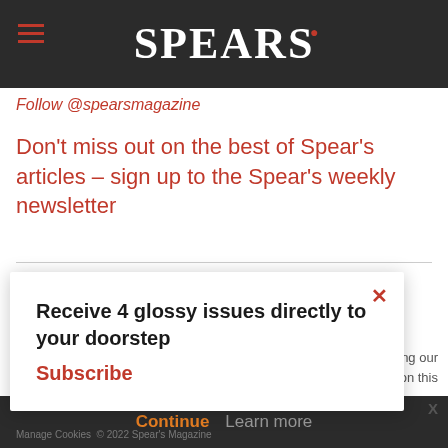SPEAR'S
Follow @spearsmagazine
Don't miss out on the best of Spear's articles – sign up to the Spear's weekly newsletter
award-
s.
continue using our all cookies on this
Receive 4 glossy issues directly to your doorstep Subscribe
Continue  Learn more